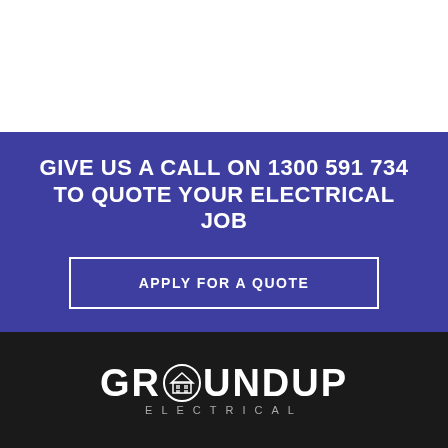GIVE US A CALL ON 1300 591 734 TO QUOTE YOUR ELECTRICAL JOB
APPLY FOR A QUOTE
[Figure (logo): GROUNDUP ELECTRICAL logo in white on black background, with a circular building/house icon replacing the letter O in GROUND]